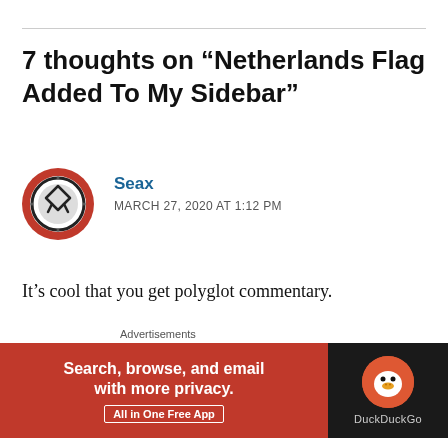7 thoughts on “Netherlands Flag Added To My Sidebar”
Seax
MARCH 27, 2020 AT 1:12 PM
It’s cool that you get polyglot commentary.
I’ve met a few Dutchies. All nice lads. Very earthy senses humour they had.
[Figure (other): DuckDuckGo advertisement banner: red left panel with text 'Search, browse, and email with more privacy. All in One Free App' and black right panel with DuckDuckGo logo]
Advertisements